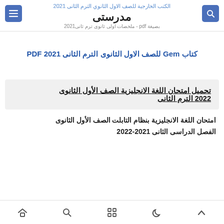الكتب الخارجية للصف الاول الثانوي الترم الثانى 2021 مدرستى بصيغة pdf - ملخصات اولى ثانوى ترم ثانى2021
كتاب Gem للصف الاول الثانوى الترم الثانى 2021 PDF
تحميل امتحان اللغة الانجليزية الصف الأول الثانوى 2022 الترم الثانى
امتحان اللغة الانجليزية بنظام التابلت الصف الأول الثانوى الفصل الدراسى الثانى 2021-2022
footer icons: up, moon, grid, search, home